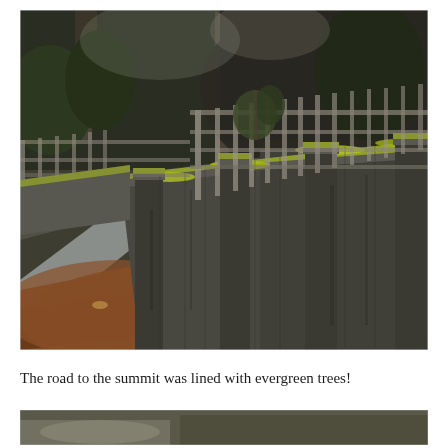[Figure (photo): A mossy stone bridge railing along a winding road surrounded by evergreen trees. The concrete bridge parapet is covered in yellow-green moss, with a wooden fence railing visible beyond it. The roadside has fallen leaves and reddish-brown bark/mulch. Tall conifers and bare deciduous trees are visible in the background.]
The road to the summit was lined with evergreen trees!
[Figure (photo): Partial view of another outdoor scene, partially cut off at the bottom of the page.]